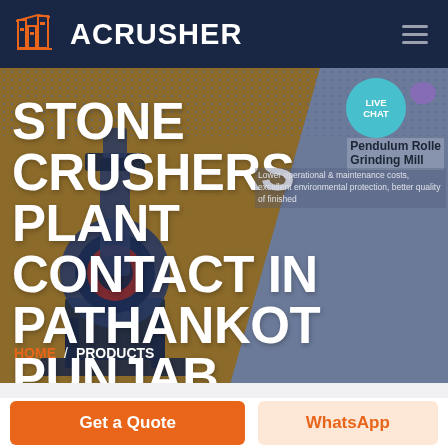[Figure (logo): ACRUSHER logo with orange building/factory icon on dark navy header bar]
[Figure (screenshot): Hero banner showing stone crusher machine on brown/grey split background with white large headline text and product info overlay]
STONE CRUSHERS PLANT CONTACT IN PATHANKOT PUNJAB
Pendulum Roller Grinding Mill
Lower operational & maintenance costs, excellent environmental protection, better quality of finished
HOME / PRODUCTS
Get a Quote
WhatsApp